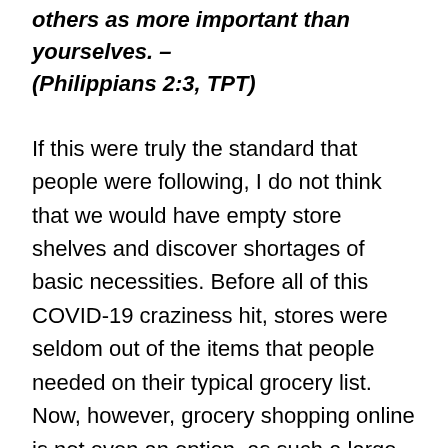others as more important than yourselves. – (Philippians 2:3, TPT)
If this were truly the standard that people were following, I do not think that we would have empty store shelves and discover shortages of basic necessities. Before all of this COVID-19 craziness hit, stores were seldom out of the items that people needed on their typical grocery list. Now, however, grocery shopping online is not even an option, as such a large portion of one's list is unable to be filled. Thankfully, we are well, and have all that we need. Being an early riser is helpful in more ways than one. That said, it matters how